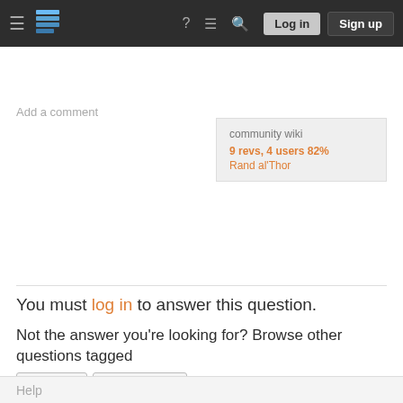Stack Exchange navigation bar with Log in and Sign up buttons
community wiki
9 revs, 4 users 82%
Rand al'Thor
Add a comment
You must log in to answer this question.
Not the answer you're looking for? Browse other questions tagged discussion topic-challenge .
Your privacy
By clicking "Accept all cookies", you agree Stack Exchange can store cookies on your device and disclose information in accordance with our Cookie Policy.
Accept all cookies
Customize settings
Help